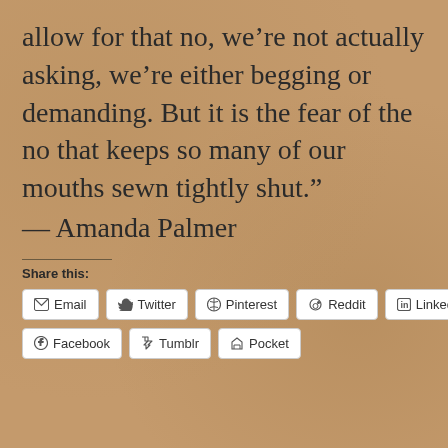allow for that no, we’re not actually asking, we’re either begging or demanding. But it is the fear of the no that keeps so many of our mouths sewn tightly shut.”
— Amanda Palmer
Share this:
Email | Twitter | Pinterest | Reddit | LinkedIn | Facebook | Tumblr | Pocket